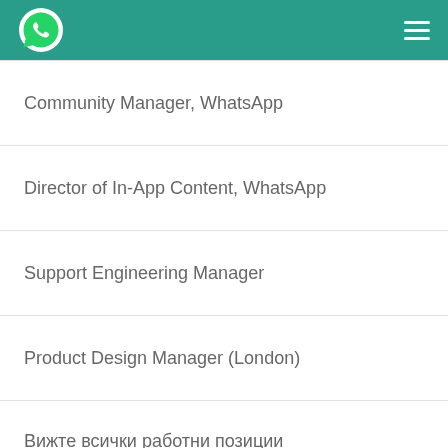WhatsApp
Community Manager, WhatsApp
Director of In-App Content, WhatsApp
Support Engineering Manager
Product Design Manager (London)
Вижте всички работни позиции